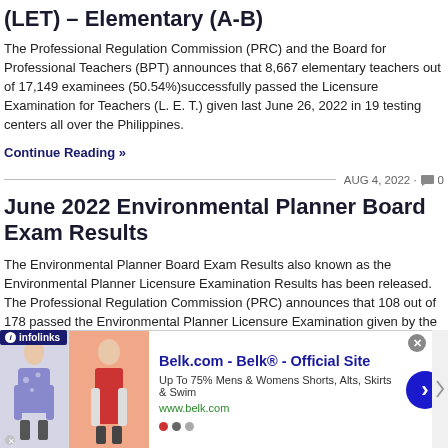(LET) – Elementary (A-B)
The Professional Regulation Commission (PRC) and the Board for Professional Teachers (BPT) announces that 8,667 elementary teachers out of 17,149 examinees (50.54%)successfully passed the Licensure Examination for Teachers (L. E. T.) given last June 26, 2022 in 19 testing centers all over the Philippines.
Continue Reading »
AUG 4, 2022 · 🗨 0
June 2022 Environmental Planner Board Exam Results
The Environmental Planner Board Exam Results also known as the Environmental Planner Licensure Examination Results has been released. The Professional Regulation Commission (PRC) announces that 108 out of 178 passed the Environmental Planner Licensure Examination given by the Board of Environmental Planning in Manila, Baguio, Cebu, Davao, Iloilo, Legazpi, Lucena last July 2022.
[Figure (other): Advertisement banner for Belk.com showing clothing items and infolinks badge]